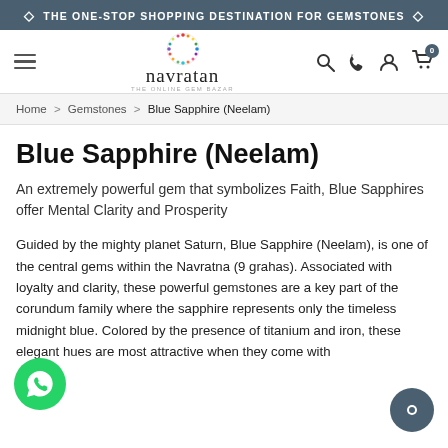♦ THE ONE-STOP SHOPPING DESTINATION FOR GEMSTONES ♦
[Figure (logo): Navratan – The Online Gem Bazar logo with colorful circular icon]
Home > Gemstones > Blue Sapphire (Neelam)
Blue Sapphire (Neelam)
An extremely powerful gem that symbolizes Faith, Blue Sapphires offer Mental Clarity and Prosperity
Guided by the mighty planet Saturn, Blue Sapphire (Neelam), is one of the central gems within the Navratna (9 grahas). Associated with loyalty and clarity, these powerful gemstones are a key part of the corundum family where the sapphire represents only the timeless midnight blue. Colored by the presence of titanium and iron, these elegant hues are most attractive when they come with